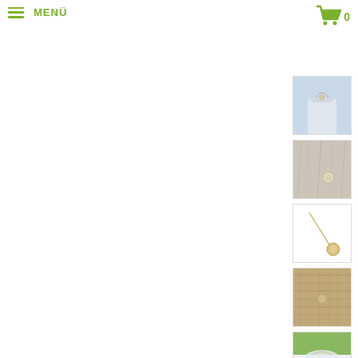≡ MENÜ
[Figure (other): Shopping cart icon with count 0]
[Figure (photo): Thumbnail 1: Necklace with pendant on a bust display form, light blue-grey background]
[Figure (photo): Thumbnail 2: Close-up of necklace pendant on textured fabric/fur background]
[Figure (photo): Thumbnail 3: Necklace with round pendant on white background, gold chain]
[Figure (photo): Thumbnail 4: Necklace displayed on burlap/linen textured background]
[Figure (photo): Thumbnail 5: Necklace with pearl pendant on mannequin, green and white background]
[Figure (photo): Thumbnail 6: Close-up of pearl pendant on textured fabric]
[Figure (photo): Thumbnail 7: Partial view of necklace on linen/burlap texture, bottom cropped]